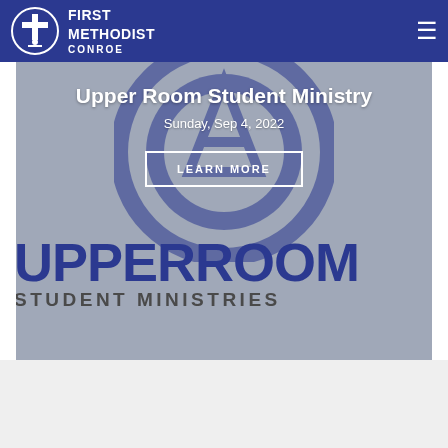First Methodist Conroe
Upper Room Student Ministry
Sunday, Sep 4, 2022
LEARN MORE
[Figure (logo): Upper Room Student Ministries logo with large UPPERROOM text in blue and STUDENT MINISTRIES in dark gray below, with circular cross logo overlay]